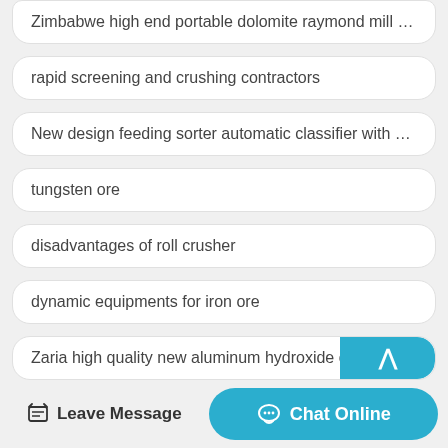Zimbabwe high end portable dolomite raymond mill sell at …
rapid screening and crushing contractors
New design feeding sorter automatic classifier with great price
tungsten ore
disadvantages of roll crusher
dynamic equipments for iron ore
Zaria high quality new aluminum hydroxide classifier sell at…
Leave Message
Chat Online